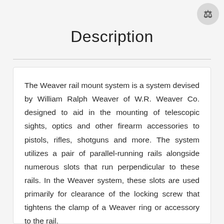[Figure (other): Circular icon button in top right corner]
Description
The Weaver rail mount system is a system devised by William Ralph Weaver of W.R. Weaver Co. designed to aid in the mounting of telescopic sights, optics and other firearm accessories to pistols, rifles, shotguns and more. The system utilizes a pair of parallel-running rails alongside numerous slots that run perpendicular to these rails. In the Weaver system, these slots are used primarily for clearance of the locking screw that tightens the clamp of a Weaver ring or accessory to the rail.